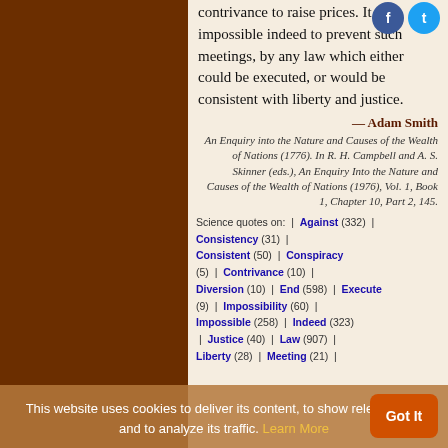contrivance to raise prices. It is impossible indeed to prevent such meetings, by any law which either could be executed, or would be consistent with liberty and justice.
— Adam Smith
An Enquiry into the Nature and Causes of the Wealth of Nations (1776). In R. H. Campbell and A. S. Skinner (eds.), An Enquiry Into the Nature and Causes of the Wealth of Nations (1976), Vol. 1, Book 1, Chapter 10, Part 2, 145.
Science quotes on: | Against (332) | Consistency (31) | Consistent (50) | Conspiracy (5) | Contrivance (10) | Diversion (10) | End (598) | Execute (9) | Impossibility (60) | Impossible (258) | Indeed (323) | Justice (40) | Law (907) | Liberty (28) | Meeting (21) |
This website uses cookies to deliver its content, to show relevant ads and to analyze its traffic. Learn More